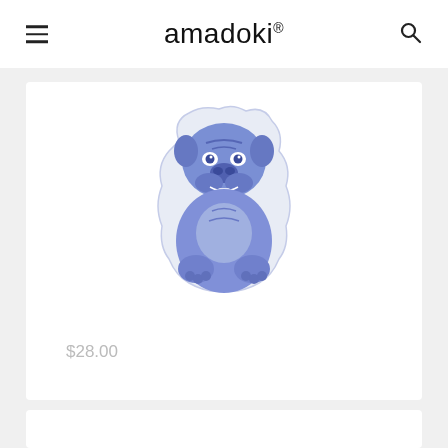amadoki®
[Figure (photo): Blue and white bulldog-shaped decorative pillow/cushion with illustration of a sitting English Bulldog, in blue tones on white background]
$28.00